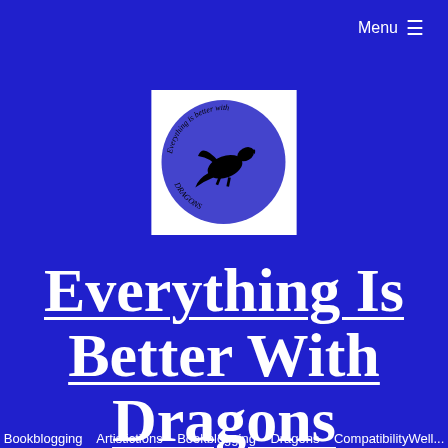Menu ≡
[Figure (logo): Circular logo on white square background with blue circle, black dragon silhouette, and cursive text reading 'Everything is better with Dragons']
Everything Is Better With Dragons
Bookblogging  Artistictions  Bookblogging  Dragons  CompatibilityWell...